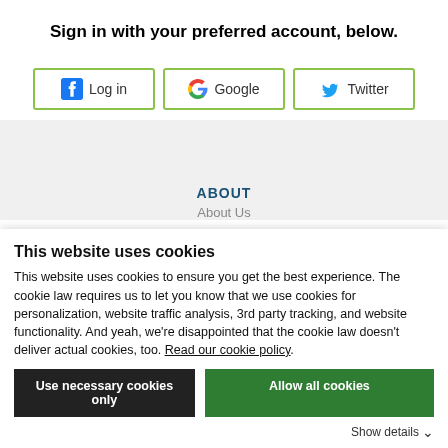Sign in with your preferred account, below.
[Figure (screenshot): Three sign-in buttons: Facebook Log in, Google, Twitter]
ABOUT
About Us
This website uses cookies
This website uses cookies to ensure you get the best experience. The cookie law requires us to let you know that we use cookies for personalization, website traffic analysis, 3rd party tracking, and website functionality. And yeah, we're disappointed that the cookie law doesn't deliver actual cookies, too. Read our cookie policy.
Use necessary cookies only | Allow all cookies
Show details